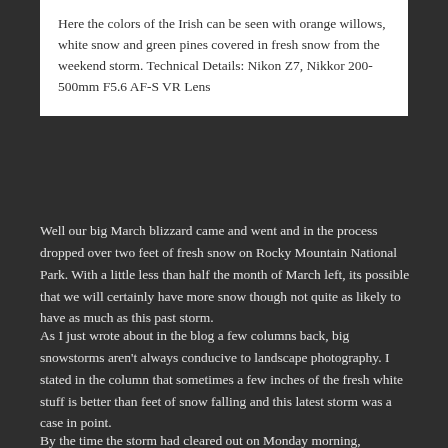Here the colors of the Irish can be seen with orange willows, white snow and green pines covered in fresh snow from the weekend storm. Technical Details: Nikon Z7, Nikkor 200-500mm F5.6 AF-S VR Lens
Well our big March blizzard came and went and in the process dropped over two feet of fresh snow on Rocky Mountain National Park. With a little less than half the month of March left, its possible that we will certainly have more snow though not quite as likely to have as much as this past storm.
As I just wrote about in the blog a few columns back, big snowstorms aren't always conducive to landscape photography. I stated in the column that sometimes a few inches of the fresh white stuff is better than feet of snow falling and this latest storm was a case in point.
By the time the storm had cleared out on Monday morning, anywhere between 20 and 30+ inches of snow had fallen on the northern Front Range towns and foothills of Colorado. We had a spectacular sunrise down here in Erie as the Boulder Flatirons